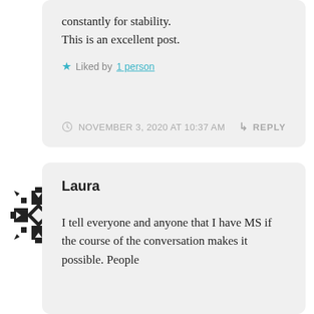constantly for stability. This is an excellent post.
Liked by 1 person
NOVEMBER 3, 2020 AT 10:37 AM
REPLY
[Figure (illustration): Black and white geometric snowflake/mandala pattern avatar icon]
Laura
I tell everyone and anyone that I have MS if the course of the conversation makes it possible. People